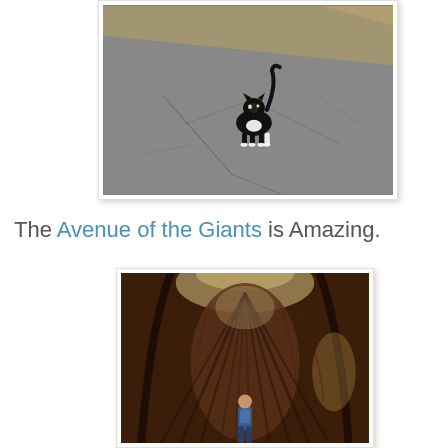[Figure (photo): A black and white cat standing on a cracked asphalt surface, photographed from above. The asphalt has a warm shadow cast across it.]
The Avenue of the Giants is Amazing.
[Figure (photo): A person standing at the base of a massive fallen redwood tree. The hollow interior of the enormous trunk is visible, dwarfing the person standing inside.]